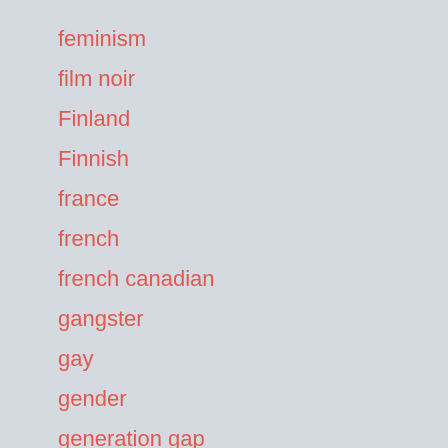feminism
film noir
Finland
Finnish
france
french
french canadian
gangster
gay
gender
generation gap
German